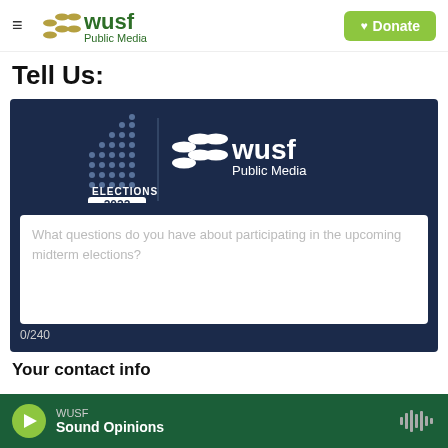WUSF Public Media — Donate
Tell Us:
[Figure (logo): WUSF Public Media Elections 2022 logo on dark navy background with bar chart dots motif and WUSF Public Media branding]
What questions do you have about participating in the upcoming midterm elections?
0/240
Your contact info
WUSF Sound Opinions